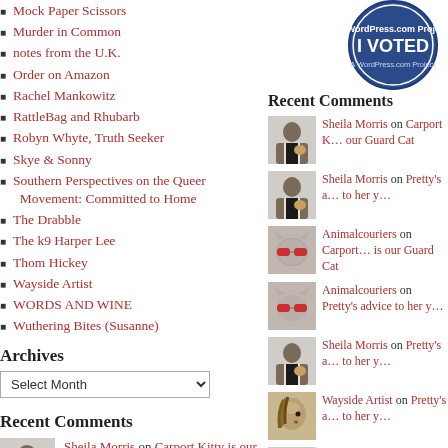Mock Paper Scissors
Murder in Common
notes from the U.K.
Order on Amazon
Rachel Mankowitz
RattleBag and Rhubarb
Robyn Whyte, Truth Seeker
Skye & Sonny
Southern Perspectives on the Queer Movement: Committed to Home
The Drabble
The k9 Harper Lee
Thom Hickey
Wayside Artist
WORDS AND WINE
Wuthering Bites (Susanne)
[Figure (logo): I Voted badge - circular blue badge with 'I VOTED' text and 'A WordPress.com Project' text]
Archives
Recent Comments
[Figure (photo): Person holding animal - comment avatar thumbnail]
Sheila Morris on Carport Kitty is our Guard Cat
Recent Comments
[Figure (photo): Person holding animal - Sheila Morris avatar]
Sheila Morris on Carport K... our Guard Cat
[Figure (photo): Person holding animal - Sheila Morris avatar]
Sheila Morris on Pretty's advice to her y…
[Figure (photo): Cat with glasses - Animalcouriers avatar]
Animalcouriers on Carport... is our Guard Cat
[Figure (photo): Cat with glasses - Animalcouriers avatar]
Animalcouriers on Pretty's advice to her y…
[Figure (photo): Person holding animal - Sheila Morris avatar]
Sheila Morris on Pretty's advice to her y…
[Figure (photo): Horse - Wayside Artist avatar]
Wayside Artist on Pretty's advice to her y…
[Figure (photo): Person holding animal - Sheila Morris avatar]
Sheila Morris on Carport K... our Guard Cat